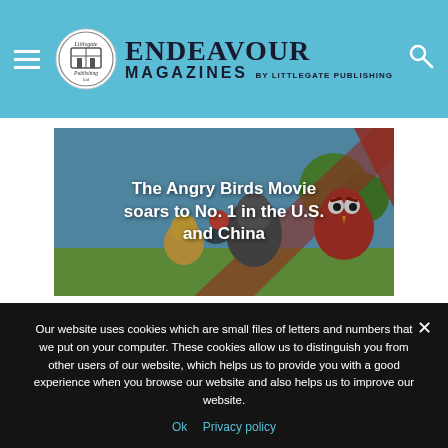Endeavour Magazines by Littlegate Publishing
[Figure (screenshot): The Angry Birds Movie promotional image with animated bird characters, overlaid with text: The Angry Birds Movie soars to No. 1 in the U.S. and China]
Our website uses cookies which are small files of letters and numbers that we put on your computer. These cookies allow us to distinguish you from other users of our website, which helps us to provide you with a good experience when you browse our website and also helps us to improve our website.
Ok  Privacy policy